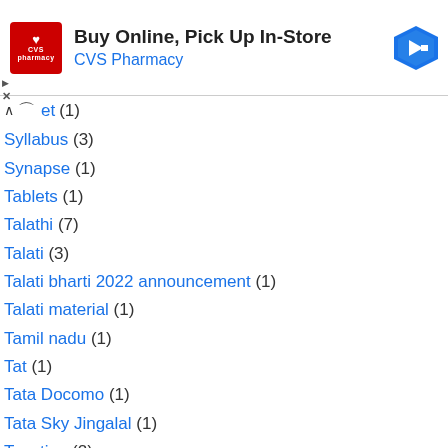[Figure (infographic): CVS Pharmacy advertisement banner: 'Buy Online, Pick Up In-Store' with CVS logo and navigation arrow icon]
et (1)
Syllabus (3)
Synapse (1)
Tablets (1)
Talathi (7)
Talati (3)
Talati bharti 2022 announcement (1)
Talati material (1)
Tamil nadu (1)
Tat (1)
Tata Docomo (1)
Tata Sky Jingalal (1)
Taxation (2)
Teacher (1)